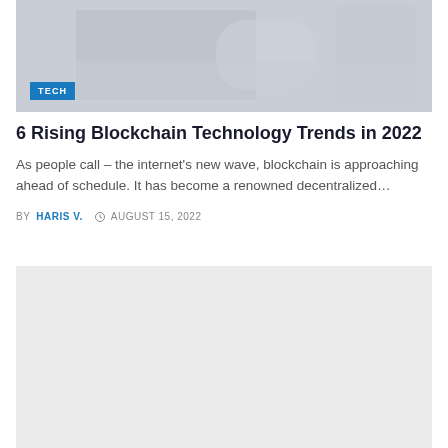[Figure (photo): Background image showing hands holding euro banknotes with a cup in the background, light bluish-grey tone]
6 Rising Blockchain Technology Trends in 2022
As people call – the internet's new wave, blockchain is approaching ahead of schedule. It has become a renowned decentralized…
BY HARIS V.   AUGUST 15, 2022
[Figure (photo): Second article image placeholder, light grey]